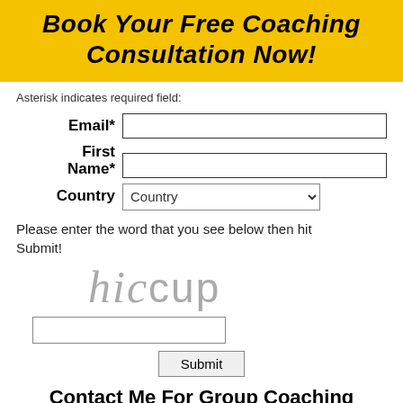Book Your Free Coaching Consultation Now!
Asterisk indicates required field:
Email*
First Name*
Country
Please enter the word that you see below then hit Submit!
[Figure (other): CAPTCHA image showing the word 'hiccup' in stylized mixed font (italic serif and sans-serif), gray color]
Submit
Contact Me For Group Coaching